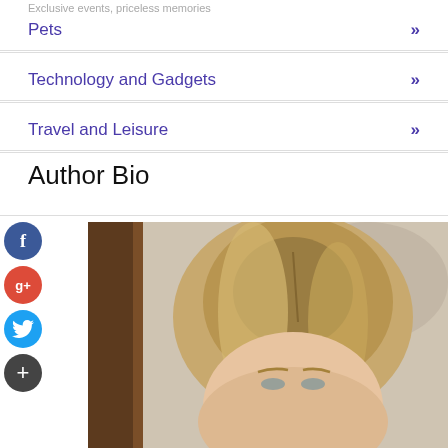Exclusive events, priceless memories
Pets »
Technology and Gadgets »
Travel and Leisure »
Author Bio
[Figure (photo): Portrait photo of a blonde woman, cropped to show top of head and face, with a soft blurred background.]